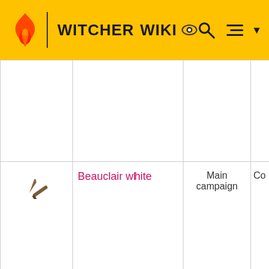WITCHER WIKI
| Icon | Name | Campaign | Type |
| --- | --- | --- | --- |
|  |  |  |  |
| [item icon] | Beauclair white | Main campaign | Co |
| [item icon] | Belhaven brigandine (magic) | Main campaign | A |